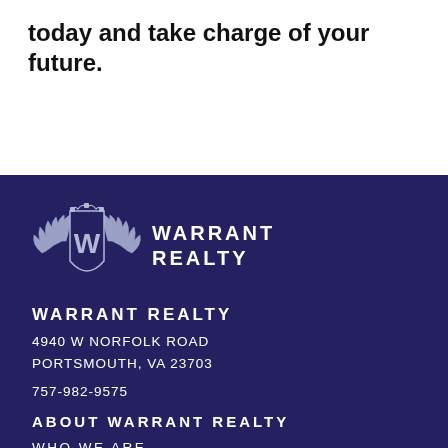today and take charge of your future.
[Figure (logo): Warrant Realty shield logo with wings and letter W, white on dark blue background]
WARRANT REALTY
4940 W NORFOLK ROAD
PORTSMOUTH, VA 23703
757-982-9575
ABOUT WARRANT REALTY
WHO WE ARE